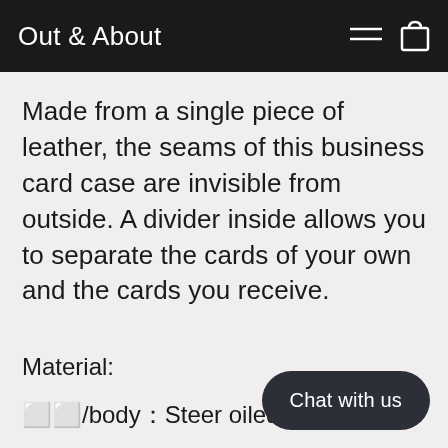Out & About
Made from a single piece of leather, the seams of this business card case are invisible from outside. A divider inside allows you to separate the cards of your own and the cards you receive.
Material:
⬜⬜/body：Steer oiled leather
belt：Vachetta leather